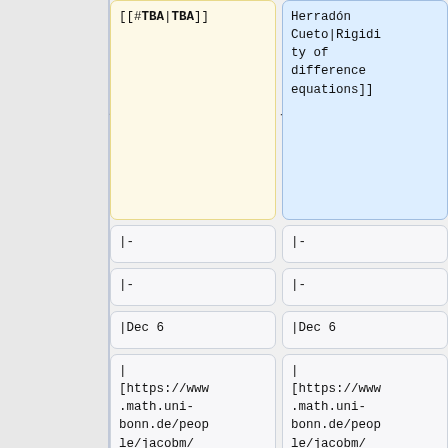[[#TBA|TBA]]
Herradón Cueto|Rigidity of difference equations]]
|-
|-
|-
|-
|Dec 6
|Dec 6
| [https://www.math.uni-bonn.de/people/jacobm/ Jacob Matherne (Bonn)]
| [https://www.math.uni-bonn.de/people/jacobm/ Jacob Matherne (Bonn)]
| [[#TBA|TBA]]
| [[#Jacob Matherne|Equ